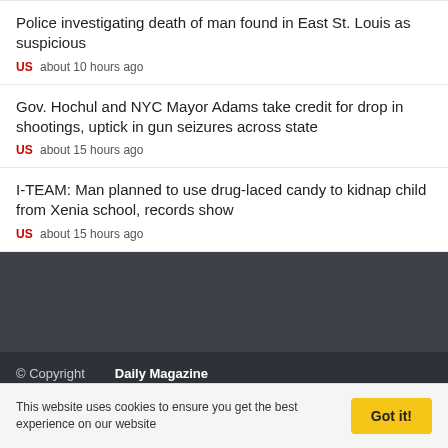Police investigating death of man found in East St. Louis as suspicious
US   about 10 hours ago
Gov. Hochul and NYC Mayor Adams take credit for drop in shootings, uptick in gun seizures across state
US   about 15 hours ago
I-TEAM: Man planned to use drug-laced candy to kidnap child from Xenia school, records show
US   about 15 hours ago
© Copyright   Daily Magazine
This website uses cookies to ensure you get the best experience on our website   Got it!